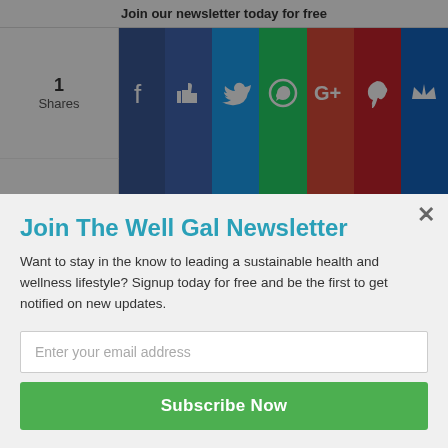Join our newsletter today for free
[Figure (screenshot): Social sharing buttons row 1: Facebook, Like, Twitter, WhatsApp, Google+, Pinterest, Crown]
[Figure (screenshot): Social sharing buttons row 2: Facebook, Like, Twitter, WhatsApp, Google+, Pinterest, Crown]
1
Shares
1
Shares
Karen, This looks so simple to make and I bet it's delicious! I love smoothies it's a way to get some of your 7 a day and it's easy to drink and tasty too 🙂
The Food Curator recently posted...Jane-Tira Thai
Join The Well Gal Newsletter
Want to stay in the know to leading a sustainable health and wellness lifestyle? Signup today for free and be the first to get notified on new updates.
Enter your email address
Subscribe Now